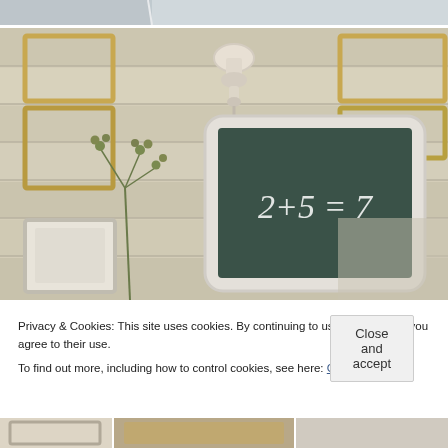[Figure (photo): Partial top of a photo showing a light gray/blue background, likely a wall or surface from the image below.]
[Figure (photo): Interior home decor photo showing a chalkboard framed in white with '2+5=7' written in chalk, mounted on a white shiplap wall with gold/wood picture frames, a white wall sconce light, and a plant with small round berries in the foreground.]
Privacy & Cookies: This site uses cookies. By continuing to use this website, you agree to their use.
To find out more, including how to control cookies, see here: Cookie Policy
Close and accept
[Figure (photo): Bottom strip showing three partial photos: left shows a framed picture, center shows a woven/textile item, right shows an indistinct light-colored image.]